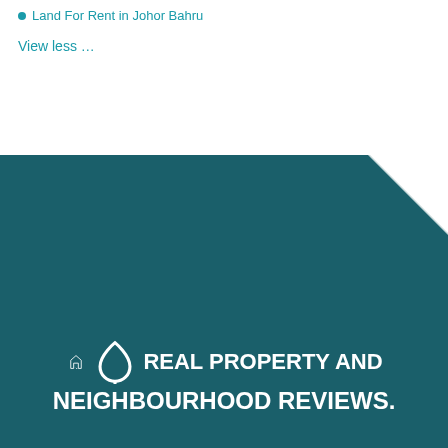Land For Rent in Johor Bahru
View less …
[Figure (logo): Real Property and Neighbourhood Reviews logo with house icon]
PROPERTIES TO BUY
PROPERTIES TO RENT
Properties for sale in
Properties for rent in